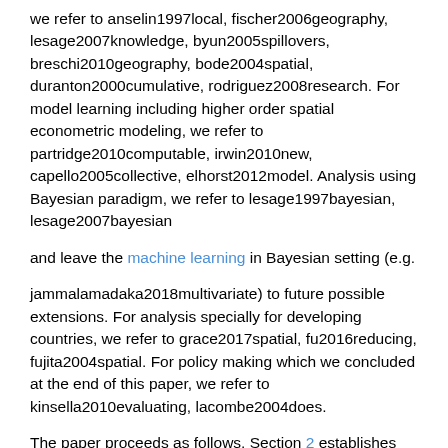we refer to anselin1997local, fischer2006geography, lesage2007knowledge, byun2005spillovers, breschi2010geography, bode2004spatial, duranton2000cumulative, rodriguez2008research. For model learning including higher order spatial econometric modeling, we refer to partridge2010computable, irwin2010new, capello2005collective, elhorst2012model. Analysis using Bayesian paradigm, we refer to lesage1997bayesian, lesage2007bayesian
and leave the machine learning in Bayesian setting (e.g.
jammalamadaka2018multivariate) to future possible extensions. For analysis specially for developing countries, we refer to grace2017spatial, fu2016reducing, fujita2004spatial. For policy making which we concluded at the end of this paper, we refer to kinsella2010evaluating, lacombe2004does.
The paper proceeds as follows. Section 2 establishes the dynamic casual relationship framework and proposes an innovative growth model for two regions. Section 3 generalizes the innovative growth model to N regions and derives equilibrium solutions. Section 4 examines the